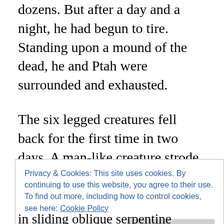dozens. But after a day and a night, he had begun to tire. Standing upon a mound of the dead, he and Ptah were surrounded and exhausted.
The six legged creatures fell back for the first time in two days. A man-like creature strode forward, lit by the light of glowing sigils. He had two winged serpents flying over his shoulders. His body was gnarled and bent, but glowed
Privacy & Cookies: This site uses cookies. By continuing to use this website, you agree to their use.
To find out more, including how to control cookies, see here: Cookie Policy
Close and accept
in sliding oblique serpentine sigils, as was life the...